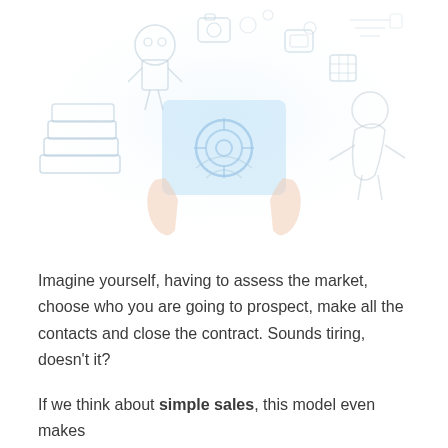[Figure (illustration): A large faded/light-colored illustration showing various scenes: a person with a camera, mechanical/robotic elements, social media icons and digital devices scattered around, hands holding a tablet with a camera/target icon, and a person in a vehicle. The overall image is very light/washed out in shades of light blue, salmon/peach, and white.]
Imagine yourself, having to assess the market, choose who you are going to prospect, make all the contacts and close the contract. Sounds tiring, doesn't it?
If we think about simple sales, this model even makes